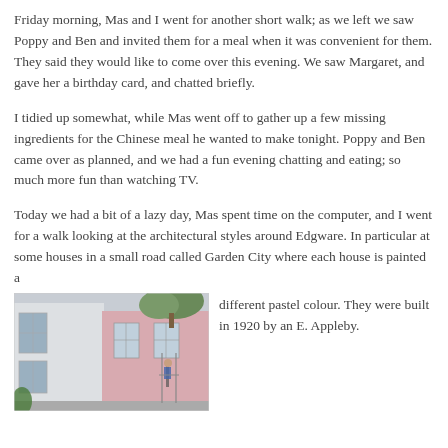Friday morning, Mas and I went for another short walk; as we left we saw Poppy and Ben and invited them for a meal when it was convenient for them. They said they would like to come over this evening. We saw Margaret, and gave her a birthday card, and chatted briefly.
I tidied up somewhat, while Mas went off to gather up a few missing ingredients for the Chinese meal he wanted to make tonight. Poppy and Ben came over as planned, and we had a fun evening chatting and eating; so much more fun than watching TV.
Today we had a bit of a lazy day, Mas spent time on the computer, and I went for a walk looking at the architectural styles around Edgware. In particular at some houses in a small road called Garden City where each house is painted a different pastel colour. They were built in 1920 by an E. Appleby.
[Figure (photo): Photograph of pastel-coloured houses in Garden City, Edgware, showing white and pink rendered facade with windows, a tree visible above, and a person on scaffolding or ladder.]